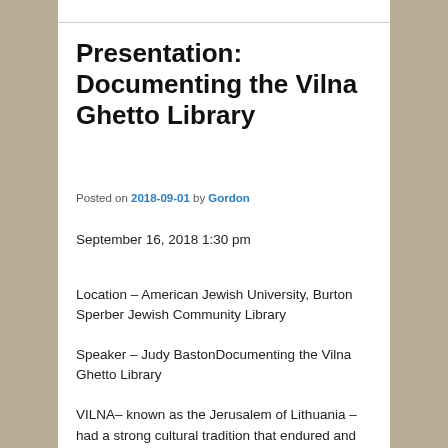Presentation: Documenting the Vilna Ghetto Library
Posted on 2018-09-01 by Gordon
September 16, 2018 1:30 pm
Location – American Jewish University, Burton Sperber Jewish Community Library
Speaker – Judy BastonDocumenting the Vilna Ghetto Library
VILNA– known as the Jerusalem of Lithuania – had a strong cultural tradition that endured and flourished even after the Vilna Ghetto was established in 1941. Perhaps the most important cultural institution in the Ghetto was